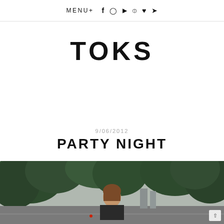MENU+ f ⊙ ▶ ⊕ ♥ ✦
TOKS
9/06/2012
PARTY NIGHT
[Figure (photo): A young woman with brown hair standing outdoors on a street, with dense green trees in the background and overcast sky. Urban street scene.]